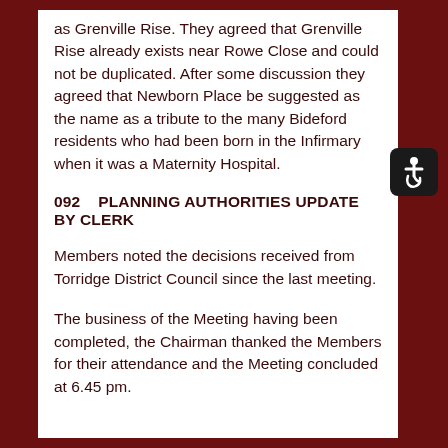as Grenville Rise. They agreed that Grenville Rise already exists near Rowe Close and could not be duplicated. After some discussion they agreed that Newborn Place be suggested as the name as a tribute to the many Bideford residents who had been born in the Infirmary when it was a Maternity Hospital.
092    PLANNING AUTHORITIES UPDATE BY CLERK
Members noted the decisions received from Torridge District Council since the last meeting.
The business of the Meeting having been completed, the Chairman thanked the Members for their attendance and the Meeting concluded at 6.45 pm.